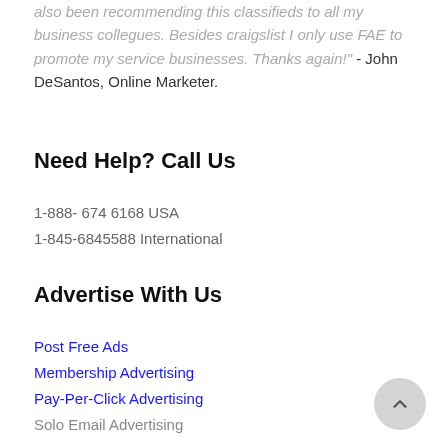also been recommending this classifieds to all my business collegues. Besides craigslist I only use FAE to promote my service businesses. Thanks again!" - John DeSantos, Online Marketer.
Need Help? Call Us
1-888-6746168  USA
1-845-6845588  International
Advertise With Us
Post Free Ads
Membership Advertising
Pay-Per-Click Advertising
Solo Email Advertising